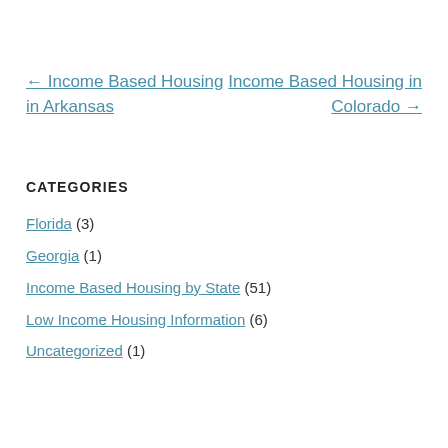← Income Based Housing in Arkansas
Income Based Housing in Colorado →
CATEGORIES
Florida (3)
Georgia (1)
Income Based Housing by State (51)
Low Income Housing Information (6)
Uncategorized (1)